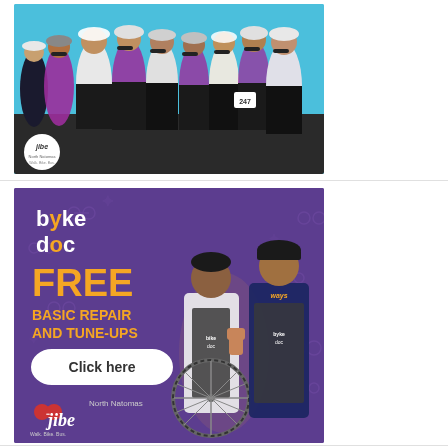[Figure (photo): Group of cyclists in colorful bike jerseys and helmets posing together outdoors against a blue sky. JIBE (North Natomas Walk Bike Bus) logo visible in bottom left corner.]
[Figure (infographic): Bike Doc advertisement on purple background. Two young men, one holding a bicycle wheel, wearing Bike Doc aprons. Text reads: 'byke doc FREE BASIC REPAIR AND TUNE-UPS Click here'. JIBE (North Natomas Walk Bike Bus) logo at bottom left.]